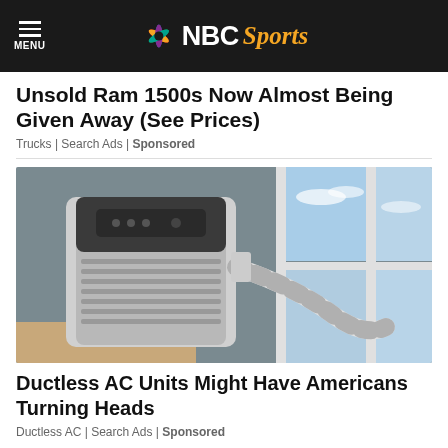NBC Sports
Unsold Ram 1500s Now Almost Being Given Away (See Prices)
Trucks | Search Ads | Sponsored
[Figure (photo): Portable air conditioning unit with flexible duct hose venting out a window, placed in a room with gray walls]
Ductless AC Units Might Have Americans Turning Heads
Ductless AC | Search Ads | Sponsored